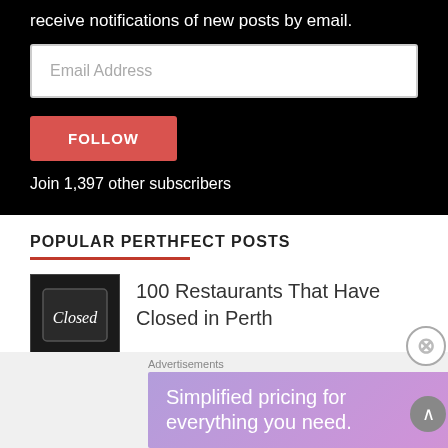receive notifications of new posts by email.
Email Address
FOLLOW
Join 1,397 other subscribers
POPULAR PERTHFECT POSTS
[Figure (photo): Small thumbnail image showing a 'Closed' sign on dark background]
100 Restaurants That Have Closed in Perth
Advertisements
[Figure (screenshot): WordPress.com ad banner: 'Simplified pricing for everything you need.' with WordPress.com logo on gradient purple-pink background]